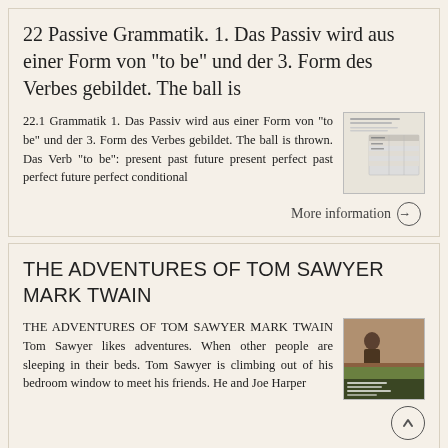22 Passive Grammatik. 1. Das Passiv wird aus einer Form von "to be" und der 3. Form des Verbes gebildet. The ball is
22.1 Grammatik 1. Das Passiv wird aus einer Form von "to be" und der 3. Form des Verbes gebildet. The ball is thrown. Das Verb "to be": present past future present perfect past perfect future perfect conditional
[Figure (other): Thumbnail of a document page with text lines and a table]
More information →
THE ADVENTURES OF TOM SAWYER MARK TWAIN
THE ADVENTURES OF TOM SAWYER MARK TWAIN Tom Sawyer likes adventures. When other people are sleeping in their beds. Tom Sawyer is climbing out of his bedroom window to meet his friends. He and Joe Harper
[Figure (photo): Thumbnail image of book cover for The Adventures of Tom Sawyer]